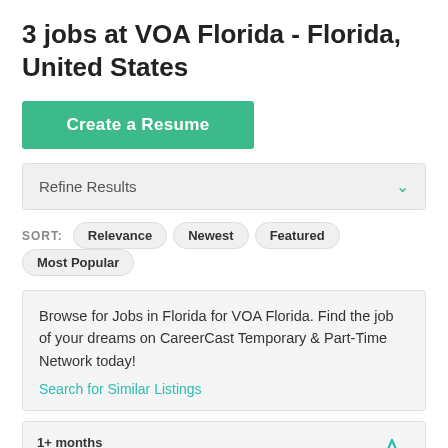3 jobs at VOA Florida - Florida, United States
Create a Resume
Refine Results
SORT: Relevance  Newest  Featured  Most Popular
Browse for Jobs in Florida for VOA Florida. Find the job of your dreams on CareerCast Temporary & Part-Time Network today! Search for Similar Listings
1+ months
Case Management
VOA Florida